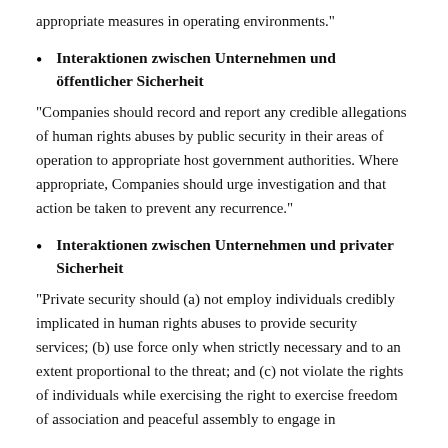appropriate measures in operating environments."
Interaktionen zwischen Unternehmen und öffentlicher Sicherheit
"Companies should record and report any credible allegations of human rights abuses by public security in their areas of operation to appropriate host government authorities. Where appropriate, Companies should urge investigation and that action be taken to prevent any recurrence."
Interaktionen zwischen Unternehmen und privater Sicherheit
"Private security should (a) not employ individuals credibly implicated in human rights abuses to provide security services; (b) use force only when strictly necessary and to an extent proportional to the threat; and (c) not violate the rights of individuals while exercising the right to exercise freedom of association and peaceful assembly to engage in